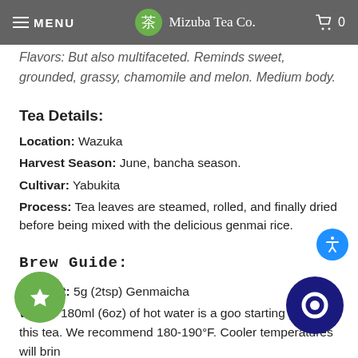MENU | Mizuba Tea Co. | 0
Flavors: But also multifaceted. Reminds sweet, roasted, grassy, chamomile and melon. Medium body.
Tea Details:
Location: Wazuka
Harvest Season: June, bancha season.
Cultivar: Yabukita
Process: Tea leaves are steamed, rolled, and finally dried before being mixed with the delicious genmai rice.
Brew Guide:
Amount: 5g (2tsp) Genmaicha
Water: 180ml (6oz) of hot water is a good starting point for this tea. We recommend 180-190°F. Cooler temperatures will bring